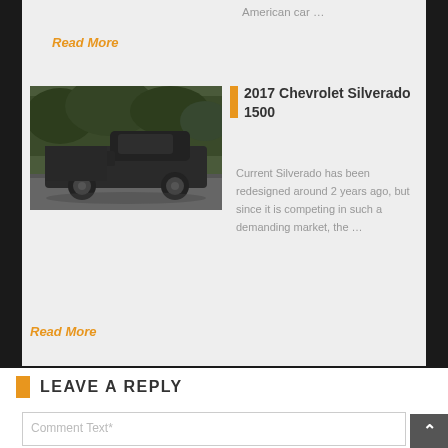American car …
Read More
[Figure (photo): A dark-colored Chevrolet Silverado pickup truck driving on a road with trees in the background]
2017 Chevrolet Silverado 1500
Current Silverado has been redesigned around 2 years ago, but since it is competing in such a demanding market, the …
Read More
LEAVE A REPLY
Comment Text*